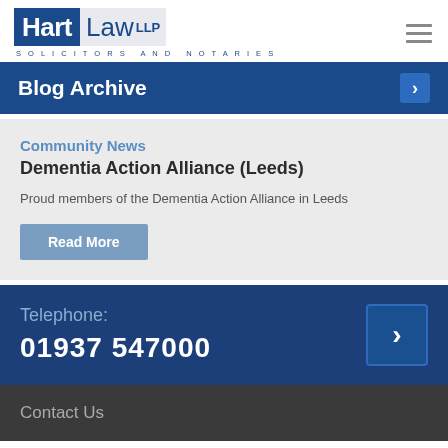Hart Law LLP — Solicitors and Notaries
Blog Archive
Community News
Dementia Action Alliance (Leeds)
Proud members of the Dementia Action Alliance in Leeds
Read More
Telephone: 01937 547000
Contact Us